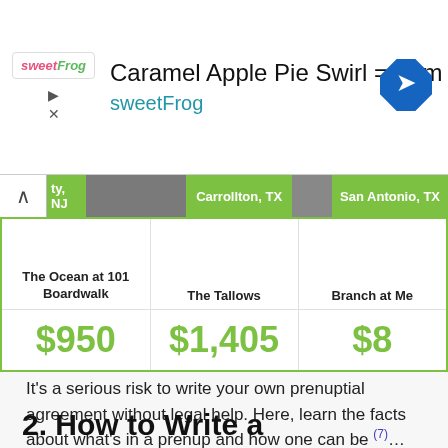[Figure (screenshot): sweetFrog advertisement banner with logo, 'Caramel Apple Pie Swirl = Yum' headline, sweetFrog subtitle, and a right-turn arrow diamond icon]
[Figure (screenshot): Location tab strip showing a chevron/arrow, partial city tab 'ty, NJ', 'Carrollton, TX' (green), thumbnail image, 'San Antonio, TX' (green), thumbnail image - apartment search location tabs]
| The Ocean at 101 Boardwalk | The Tallows | Branch at Me(rcado) |
| --- | --- | --- |
| $950 | $1,405 | $8... |
It’s a serious risk to write your own prenuptial agreement without legal help. Here, learn the facts about what’s in a prenup and how one can be (7)…
2. How to Write a